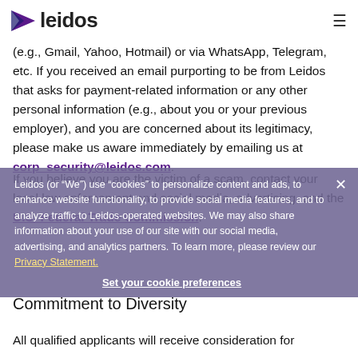leidos
(e.g., Gmail, Yahoo, Hotmail) or via WhatsApp, Telegram, etc. If you received an email purporting to be from Leidos that asks for payment-related information or any other personal information (e.g., about you or your previous employer), and you are concerned about its legitimacy, please make us aware immediately by emailing us at corp_security@leidos.com.
Leidos (or "We") use "cookies" to personalize content and ads, to enhance website functionality, to provide social media features, and to analyze traffic to Leidos-operated websites. We may also share information about your use of our site with our social media, advertising, and analytics partners. To learn more, please review our Privacy Statement.
Set your cookie preferences
If you believe you are the victim of a scam, contact your local law enforcement and social media, advertising, and the U.S. Federal Trade Commission.
Commitment to Diversity
All qualified applicants will receive consideration for